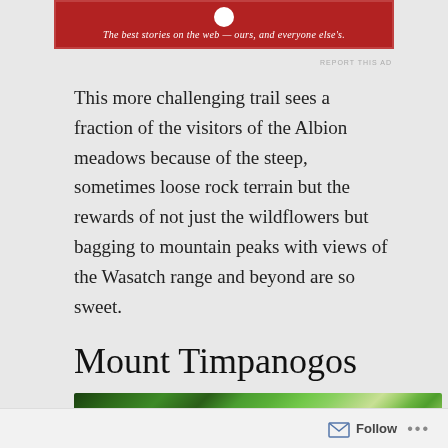[Figure (other): Red advertisement banner with white circular logo and italic tagline: 'The best stories on the web — ours, and everyone else's.']
REPORT THIS AD
This more challenging trail sees a fraction of the visitors of the Albion meadows because of the steep, sometimes loose rock terrain but the rewards of not just the wildflowers but bagging to mountain peaks with views of the Wasatch range and beyond are so sweet.
Mount Timpanogos
[Figure (photo): Landscape photo of dense green forest trees with mountainous terrain under daylight.]
Advertisements
Follow